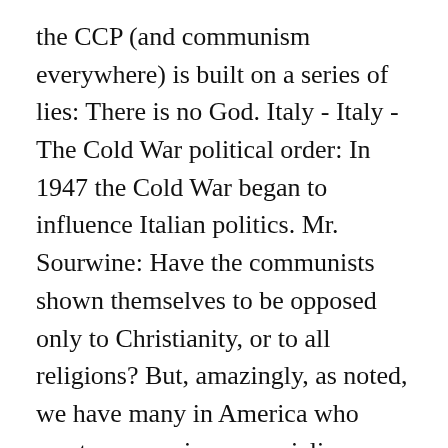the CCP (and communism everywhere) is built on a series of lies: There is no God. Italy - Italy - The Cold War political order: In 1947 the Cold War began to influence Italian politics. Mr. Sourwine: Have the communists shown themselves to be opposed only to Christianity, or to all religions? But, amazingly, as noted, we have many in America who want communism or socialism. Mail-in ballot delays are hitting now: WI (no way we're... Tags: arch popes bicycle pumps chaos pope commnists gay porn trotsky. By 1945, Americans had become somewhat convinced that maybe those Russian communists were not that bad after all. Départements with the highest levels of communist support in towns with 3,500